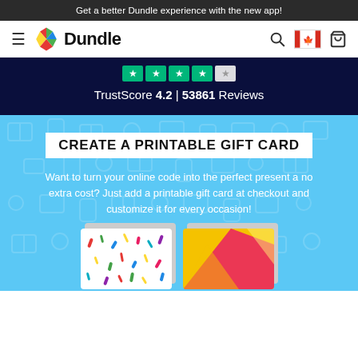Get a better Dundle experience with the new app!
[Figure (logo): Dundle logo with colorful gem icon and bold 'Dundle' wordmark, hamburger menu, search icon, Canadian flag icon, and shopping cart icon in navigation bar]
TrustScore 4.2 | 53861 Reviews
CREATE A PRINTABLE GIFT CARD
Want to turn your online code into the perfect present a no extra cost? Just add a printable gift card at checkout and customize it for every occasion!
[Figure (illustration): Two printable gift card previews — one white with colorful confetti pattern, one with yellow and pink geometric shapes — shown at the bottom of the blue promo section]